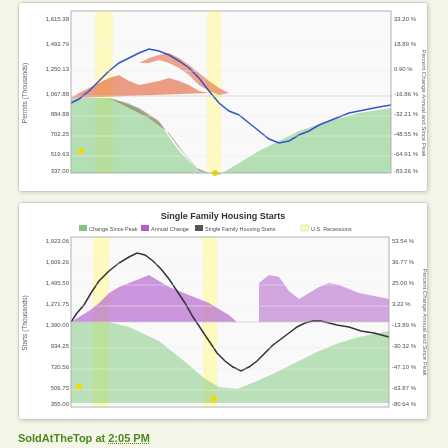[Figure (continuous-plot): Top chart showing housing permits data with blue line (level), orange area (annual change), green/brown area (change since peak), and yellow recession bands. Left y-axis: Permits (Thousands) ranging ~337 to 1615. Right y-axis: Percent Change Annual and Since Peak ranging ~-83% to 33%.]
[Figure (continuous-plot): Bottom chart titled 'Single Family Housing Starts' with legend: Change Since Peak (green), Annual Change (purple), Single Family Housing Starts (black line), U.S. Recessions (yellow). Left y-axis: Starts (Thousands) ~355 to 1923. Right y-axis: Percent Change Annual and Since Peak ~-80.64% to 53.54%.]
SoldAtTheTop at 2:05 PM